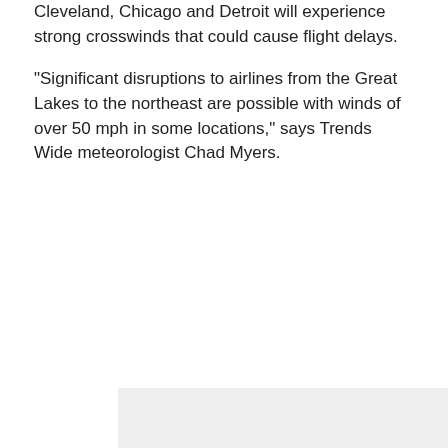Cleveland, Chicago and Detroit will experience strong crosswinds that could cause flight delays.
“Significant disruptions to airlines from the Great Lakes to the northeast are possible with winds of over 50 mph in some locations,” says Trends Wide meteorologist Chad Myers.
[Figure (other): Advertisement banner showing baking cookies image on left, cosmetic lip products in middle, a teal badge with '22' on it, and bold text '37 GENIUS AMAZON PRODUCTS THAT CAN BE USED BY ANYONE' on teal/cyan background with a close button.]